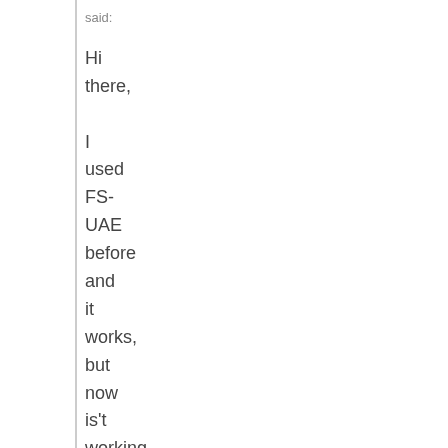said:
Hi there,

I used FS-UAE before and it works, but now is't working. I used ADFs